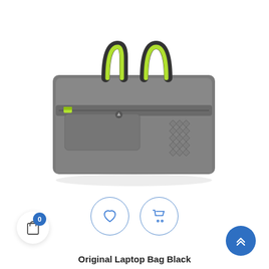[Figure (photo): A gray laptop bag with black and lime green handles, a front zippered pocket with a small logo badge and a diamond/triangle pattern on the lower right, photographed on a white background.]
Original Laptop Bag Black